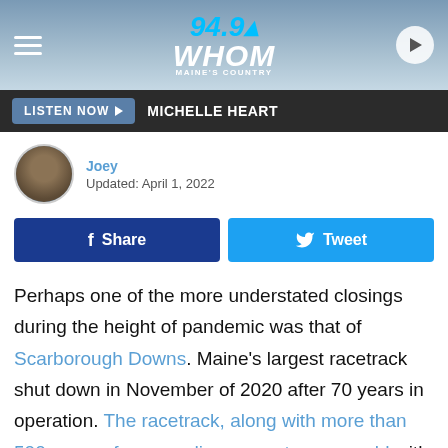[Figure (logo): 94.9 WHOM radio station logo with hamburger menu and play button on gradient blue header]
LISTEN NOW ▶  MICHELLE HEART
Joey
Updated: April 1, 2022
f Share   Tweet
Perhaps one of the more understated closings during the height of pandemic was that of Scarborough Downs. Maine's largest racetrack shut down in November of 2020 after 70 years in operation. The racetrack, along with more than 500 acres of surrounding property, were sold with the promise of a large-scale development featuring residential and commercial space as well as opportunities for events. The development at The Downs is certainly underway, and now a signature event has been launched.